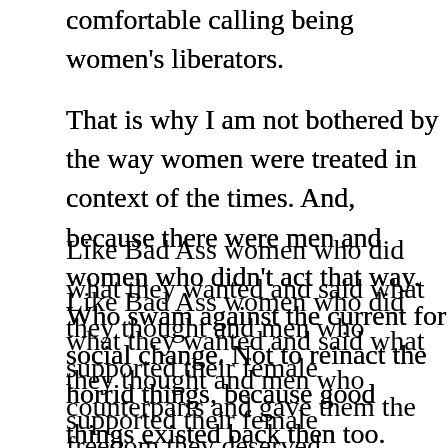comfortable calling being women's liberators.
That is why I am not bothered by the way women were treated in context of the times. And, because there were men and women who didn't act that way. Who swam against the current for social change. Not to reinact the horrid things, because good things existed back then too.
Like Bad Ass women who did what they wanted and said what they thought and men who supported their female counterparts and gave them the freedom they deserved. Thessalonica Jones is a bad ass Steampunk who takes her cue from real bad ass Victorian ladies. And, from people who didn't support racism and such.
And, it is part of history we simply shouldn't white wash. We should face it and realize that it should not happen again, celebrate the folks who used that time for bringing about better social change.
I am an old punk, part of what attracted me to Steampunk was the anti-man, free thinking, fun loving, downright silly, out of the box...